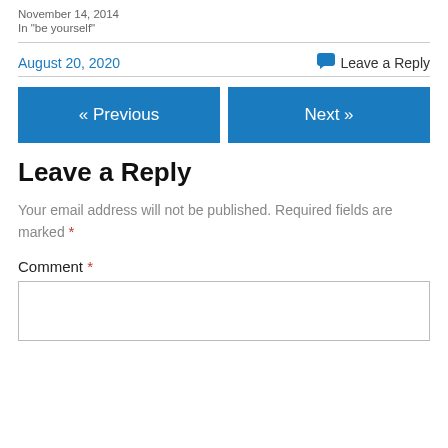November 14, 2014
In "be yourself"
August 20, 2020
Leave a Reply
« Previous
Next »
Leave a Reply
Your email address will not be published. Required fields are marked *
Comment *